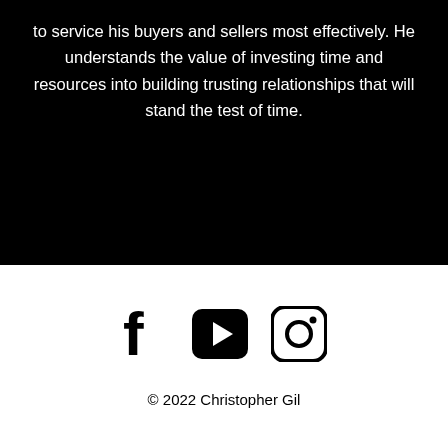to service his buyers and sellers most effectively. He understands the value of investing time and resources into building trusting relationships that will stand the test of time.
[Figure (illustration): Social media icons: Facebook (f), YouTube (play button in rounded square), Instagram (camera in rounded square)]
© 2022 Christopher Gil